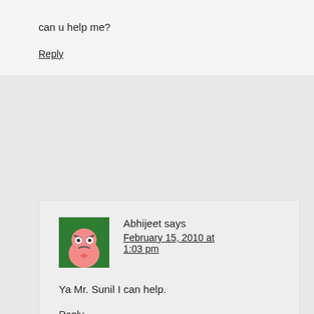can u help me?
Reply
Abhijeet says
February 15, 2010 at 1:03 pm
Ya Mr. Sunil I can help.
Reply